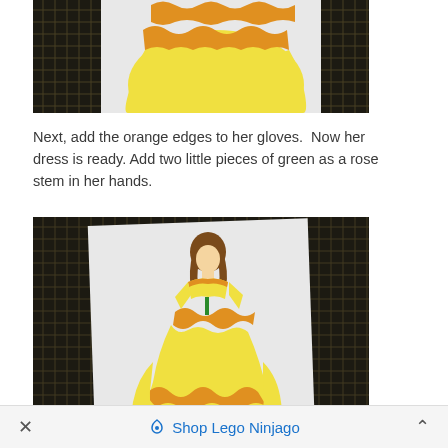[Figure (photo): Yellow dress foam craft piece (bottom half/skirt with orange scalloped trim) on white paper over black wicker mat background]
Next, add the orange edges to her gloves.  Now her dress is ready. Add two little pieces of green as a rose stem in her hands.
[Figure (photo): Belle princess paper craft figure showing full yellow dress with orange scalloped trim, brown hair, and green rose stem in hands, on white paper over black wicker mat background]
✕   Shop Lego Ninjago   ^